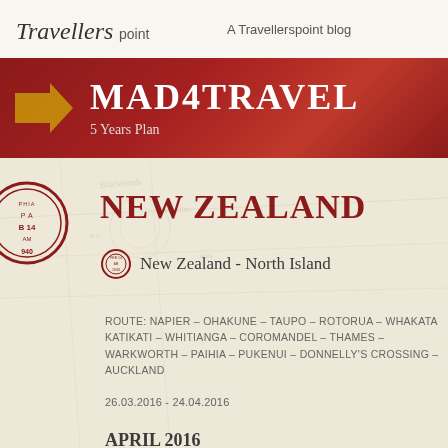Travellerspoint — A Travellerspoint blog
MAD4TRAVEL
5 Years Plan
NEW ZEALAND
New Zealand - North Island
ROUTE: NAPIER – OHAKUNE – TAUPO – ROTORUA – WHAKATA KATIKATI – WHITIANGA – COROMANDEL – THAMES – WARKWORTH – PAIHIA – PUKENUI – DONNELLY'S CROSSING – AUCKLAND
26.03.2016 - 24.04.2016
APRIL 2016